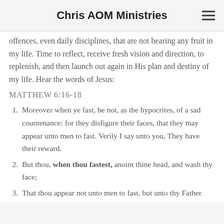Chris AOM Ministries
offences, even daily disciplines, that are not bearing any fruit in my life. Time to reflect, receive fresh vision and direction, to replenish, and then launch out again in His plan and destiny of my life. Hear the words of Jesus:
MATTHEW 6:16-18
Moreover when ye fast, be not, as the hypocrites, of a sad countenance: for they disfigure their faces, that they may appear unto men to fast. Verily I say unto you, They have their reward.
But thou, when thou fastest, anoint thine head, and wash thy face;
That thou appear not unto men to fast, but unto thy Father